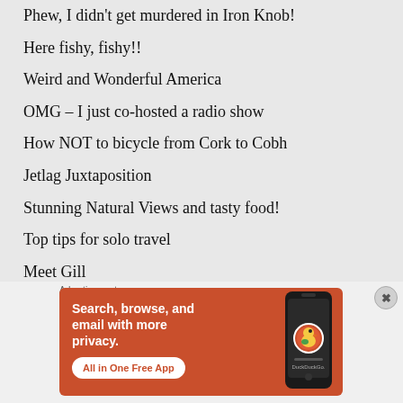Phew, I didn't get murdered in Iron Knob!
Here fishy, fishy!!
Weird and Wonderful America
OMG – I just co-hosted a radio show
How NOT to bicycle from Cork to Cobh
Jetlag Juxtaposition
Stunning Natural Views and tasty food!
Top tips for solo travel
Meet Gill
Kickin' Goals
Advertisements
[Figure (infographic): DuckDuckGo advertisement banner: orange background with white bold text 'Search, browse, and email with more privacy.' and a white pill button 'All in One Free App', with a phone mockup showing DuckDuckGo logo on the right.]